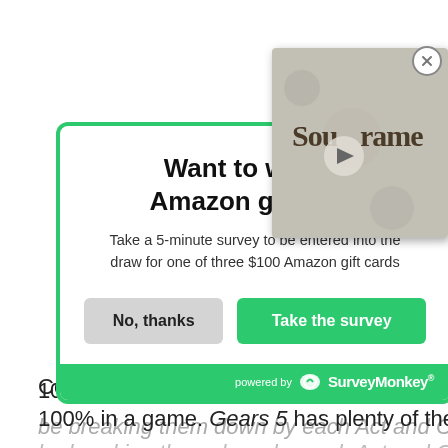100% in a game. Gears 5 has plenty of them, so we'll
be breaking them down by each Act and Chapter to
[Figure (screenshot): A SurveyMonkey popup modal with green border asking the user to take a 5-minute survey for a chance to win one of three $100 Amazon gift cards. Contains 'No, thanks' button and 'Take the survey' green button. Powered by SurveyMonkey branding at bottom. Overlapping video thumbnail showing 'Soulframe' game logo with play button.]
Want to win an Amazon gift card
Take a 5-minute survey to be entered into the draw for one of three $100 Amazon gift cards
No, thanks
Take the survey
powered by SurveyMonkey